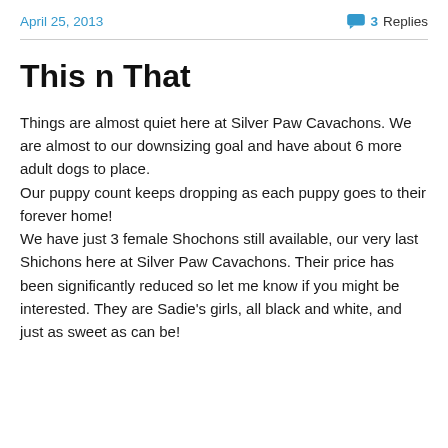April 25, 2013   💬 3 Replies
This n That
Things are almost quiet here at Silver Paw Cavachons. We are almost to our downsizing goal and have about 6 more adult dogs to place.
Our puppy count keeps dropping as each puppy goes to their forever home!
We have just 3 female Shochons still available, our very last Shichons here at Silver Paw Cavachons. Their price has been significantly reduced so let me know if you might be interested. They are Sadie's girls, all black and white, and just as sweet as can be!